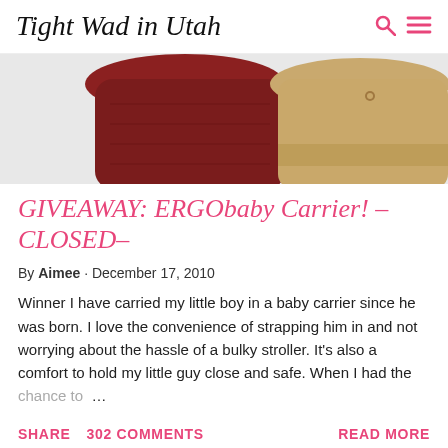Tight Wad in Utah
[Figure (photo): Two baby carriers/hats shown side by side — a dark red/maroon one on the left and a tan/khaki one on the right, against a white background.]
GIVEAWAY: ERGObaby Carrier! –CLOSED–
By Aimee · December 17, 2010
Winner I have carried my little boy in a baby carrier since he was born. I love the convenience of strapping him in and not worrying about the hassle of a bulky stroller. It's also a comfort to hold my little guy close and safe. When I had the chance to ...
SHARE   302 COMMENTS   READ MORE